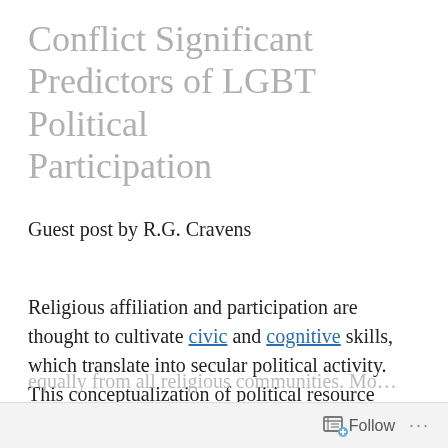Conflict Significant Predictors of LGBT Political Participation
Guest post by R.G. Cravens
Religious affiliation and participation are thought to cultivate civic and cognitive skills, which translate into secular political activity. This conceptualization of political resource theory, however, assumes that skills accrue
Follow ···